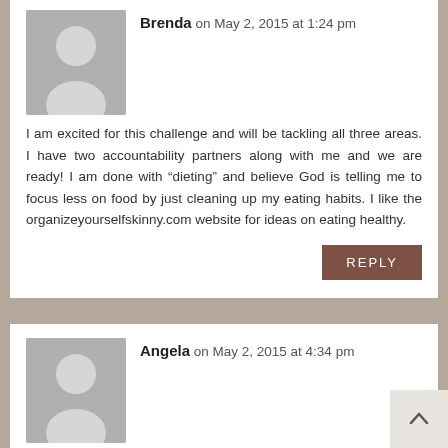Brenda on May 2, 2015 at 1:24 pm
I am excited for this challenge and will be tackling all three areas. I have two accountability partners along with me and we are ready! I am done with “dieting” and believe God is telling me to focus less on food by just cleaning up my eating habits. I like the organizeyourselfskinny.com website for ideas on eating healthy.
REPLY
Angela on May 2, 2015 at 4:34 pm
I’m in! I’ve been working on this since January, but it will be nice to have more accountability.